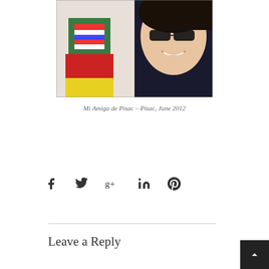[Figure (photo): A selfie-style photo of two women smiling; one wearing a green cardigan and colorful striped clothing with red and yellow garments visible, the other wearing dark clothing and sunglasses. Photo has a warm vintage filter.]
Mi Amiga de Pisac – Pisac, June 2012
f  t  g+  in  p (social sharing icons)
Leave a Reply